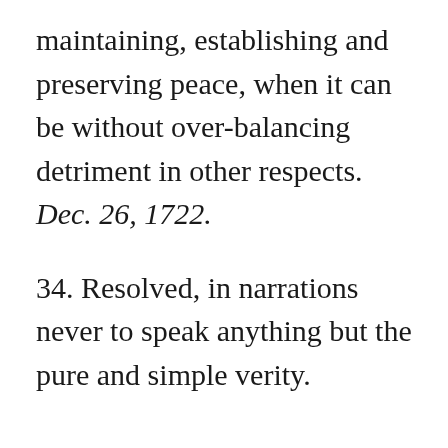maintaining, establishing and preserving peace, when it can be without over-balancing detriment in other respects. Dec. 26, 1722.
34. Resolved, in narrations never to speak anything but the pure and simple verity.